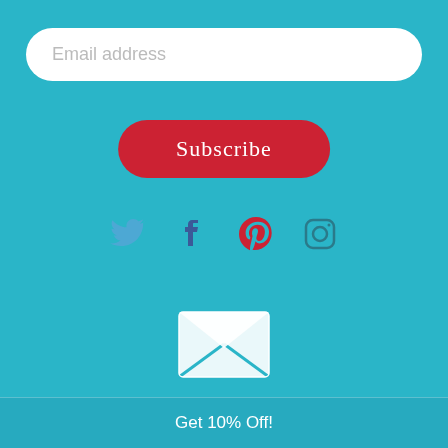Email address
Subscribe
[Figure (infographic): Social media icons: Twitter (bird icon in blue), Facebook (F icon in dark blue), Pinterest (P icon in red), Instagram (camera icon in dark teal)]
[Figure (illustration): White envelope icon on teal background]
Sign up for Emails and get
10% off
Get 10% Off!